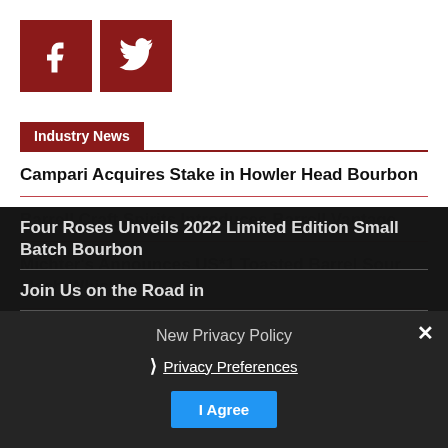[Figure (other): Facebook and Twitter social media icons as dark red square buttons]
Industry News
Campari Acquires Stake in Howler Head Bourbon
Barrell Craft Spirits Introduces Barrell Vantage
Michter's Announces US*1 Toasted Barrel Sour Mash Whiskey
Four Roses Unveils 2022 Limited Edition Small Batch Bourbon
Join Us on the Road in
New Privacy Policy
Privacy Preferences
I Agree